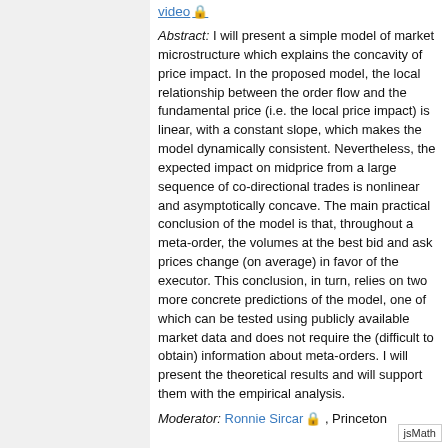video 🔒
Abstract: I will present a simple model of market microstructure which explains the concavity of price impact. In the proposed model, the local relationship between the order flow and the fundamental price (i.e. the local price impact) is linear, with a constant slope, which makes the model dynamically consistent. Nevertheless, the expected impact on midprice from a large sequence of co-directional trades is nonlinear and asymptotically concave. The main practical conclusion of the model is that, throughout a meta-order, the volumes at the best bid and ask prices change (on average) in favor of the executor. This conclusion, in turn, relies on two more concrete predictions of the model, one of which can be tested using publicly available market data and does not require the (difficult to obtain) information about meta-orders. I will present the theoretical results and will support them with the empirical analysis.
Moderator: Ronnie Sircar 🔒 , Princeton